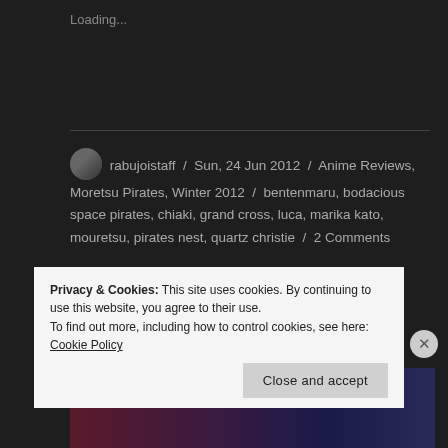Loading...
rabujoistaff / Sun, 24 Jun 2012 / Anime Reviews, Moretsu Pirates, Winter 2012 / bentenmaru, bodacious space pirates, chiaki, grand cross, luca, marika kato, mouretsu, pirates nest, quartz christie / 2 Comments
Aquarion Evol – 25
[Figure (screenshot): Partial view of an anime scene with dark purple and blue hues]
Privacy & Cookies: This site uses cookies. By continuing to use this website, you agree to their use.
To find out more, including how to control cookies, see here: Cookie Policy
Close and accept